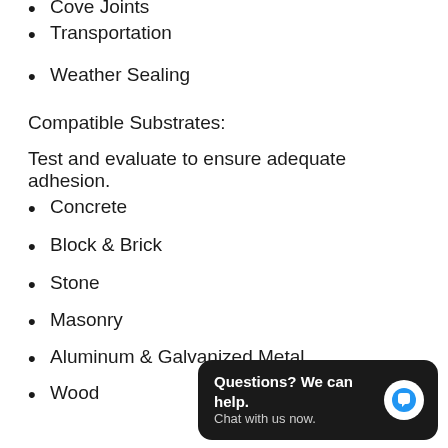Cove Joints
Transportation
Weather Sealing
Compatible Substrates:
Test and evaluate to ensure adequate adhesion.
Concrete
Block & Brick
Stone
Masonry
Aluminum & Galvanized Metal
Wood
Engineered Plastics, Vinyl, PVC
Glass
Fiberglass FRP
EPS Foam